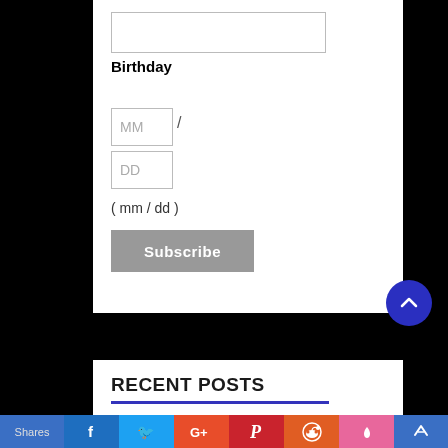Birthday
MM / DD ( mm / dd )
Subscribe
RECENT POSTS
Shares